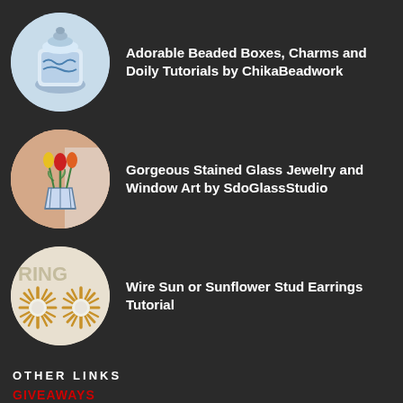[Figure (photo): Circular thumbnail of a blue and white decorative beaded box/vase]
Adorable Beaded Boxes, Charms and Doily Tutorials by ChikaBeadwork
[Figure (photo): Circular thumbnail of stained glass art showing colorful tulip flowers in a vase]
Gorgeous Stained Glass Jewelry and Window Art by SdoGlassStudio
[Figure (photo): Circular thumbnail of gold wire sun/sunflower stud earrings with pearl centers]
Wire Sun or Sunflower Stud Earrings Tutorial
OTHER LINKS
GIVEAWAYS